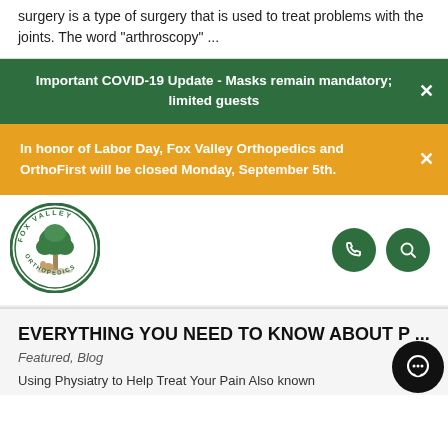surgery is a type of surgery that is used to treat problems with the joints. The word "arthroscopy" ...
Important COVID-19 Update - Masks remain mandatory; limited guests
In honor of Labor Day, Fox Valley Orthopedics and OrthoFirst will be closed Monday, September 5th.
[Figure (logo): Fox Valley Orthopedics circular logo with tree illustration]
EVERYTHING YOU NEED TO KNOW ABOUT P ...
Featured, Blog
Using Physiatry to Help Treat Your Pain Also known